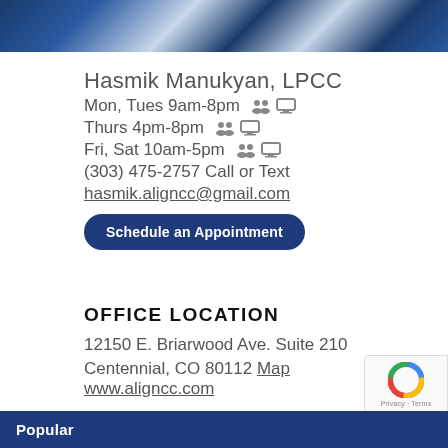[Figure (photo): Decorative banner with abstract blue and white pattern, appears to be a fabric or textile image.]
Hasmik Manukyan, LPCC
Mon, Tues 9am-8pm [people icon] [monitor icon]
Thurs 4pm-8pm [people icon] [monitor icon]
Fri, Sat 10am-5pm [people icon] [monitor icon]
(303) 475-2757 Call or Text
hasmik.aligncc@gmail.com
Schedule an Appointment
OFFICE LOCATION
12150 E. Briarwood Ave. Suite 210
Centennial, CO 80112 Map www.aligncc.com
Popular